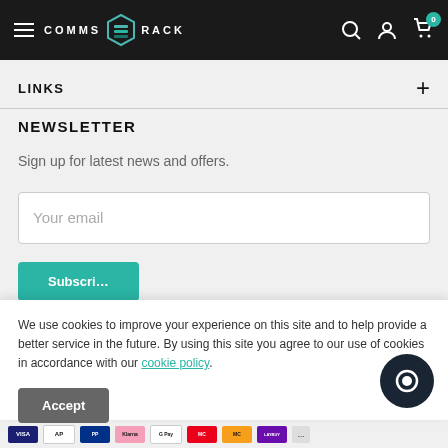COMMS RACK
LINKS
NEWSLETTER
Sign up for latest news and offers.
Your email
We use cookies to improve your experience on this site and to help provide a better service in the future. By using this site you agree to our use of cookies in accordance with our cookie policy.